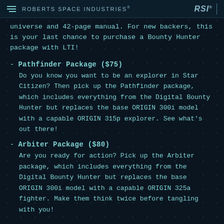ROBERTS SPACE INDUSTRIES®
universe and 42-page manual. For new backers, this is your last chance to purchase a Bounty Hunter package with LTI!
Pathfinder Package ($75)
Do you know you want to be an explorer in Star Citizen? Then pick up the Pathfinder package, which includes everything from the Digital Bounty Hunter but replaces the base ORIGIN 300i model with a capable ORIGIN 315p explorer. See what's out there!
Arbiter Package ($80)
Are you ready for action? Pick up the Arbiter package, which includes everything from the Digital Bounty Hunter but replaces the base ORIGIN 300i model with a capable ORIGIN 325a fighter. Make them think twice before tangling with you!